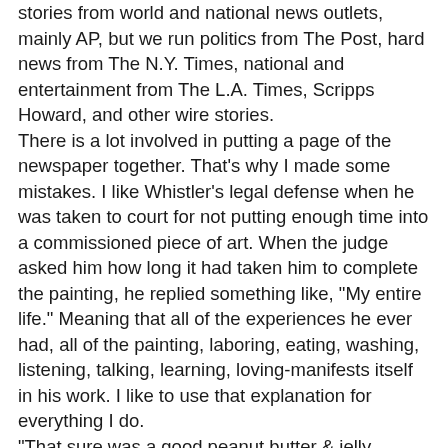stories from world and national news outlets, mainly AP, but we run politics from The Post, hard news from The N.Y. Times, national and entertainment from The L.A. Times, Scripps Howard, and other wire stories.
There is a lot involved in putting a page of the newspaper together. That's why I made some mistakes. I like Whistler's legal defense when he was taken to court for not putting enough time into a commissioned piece of art. When the judge asked him how long it had taken him to complete the painting, he replied something like, "My entire life." Meaning that all of the experiences he ever had, all of the painting, laboring, eating, washing, listening, talking, learning, loving-manifests itself in his work. I like to use that explanation for everything I do.
"That sure was a good peanut butter & jelly sandwich, wasn't it?"
So for the past month or so I have been almost-only proofing, that is looking over other copy editors' pages for mistakes in style, design, whatever, just mistakes. You get to learn better how a page is suppose to look proofing.
I actually got the idea to start doing lead-ins on my blog from the photo caption lead-ins we do in the paper. But I forgot to